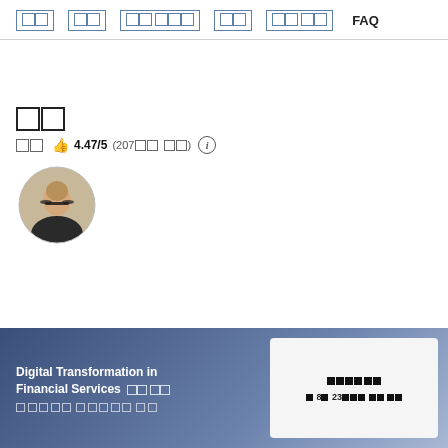□□  □□  □□ □□□  □□  □□ □□  FAQ
□□
□□ □□ 👍 4.47/5 (207□□□ □□) ℹ
[Figure (photo): Instructor portrait photo showing a man with glasses and dark clothing, circular crop]
Digital Transformation in Financial Services □□ □□
□□□□□ □□□□□ □□
□□□□ □□
□ 8□ 23□□□ □□□ □□